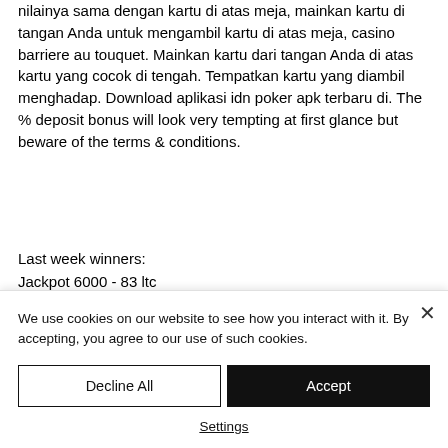nilainya sama dengan kartu di atas meja, mainkan kartu di tangan Anda untuk mengambil kartu di atas meja, casino barriere au touquet. Mainkan kartu dari tangan Anda di atas kartu yang cocok di tengah. Tempatkan kartu yang diambil menghadap. Download aplikasi idn poker apk terbaru di. The % deposit bonus will look very tempting at first glance but beware of the terms & conditions.
Last week winners:
Jackpot 6000 - 83 ltc
We use cookies on our website to see how you interact with it. By accepting, you agree to our use of such cookies.
Decline All
Accept
Settings